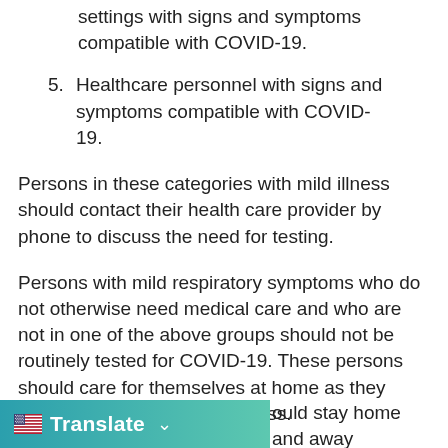settings with signs and symptoms compatible with COVID-19.
5. Healthcare personnel with signs and symptoms compatible with COVID-19.
Persons in these categories with mild illness should contact their health care provider by phone to discuss the need for testing.
Persons with mild respiratory symptoms who do not otherwise need medical care and who are not in one of the above groups should not be routinely tested for COVID-19. These persons should care for themselves at home as they normally would for a mild illness.
[Figure (screenshot): Translate button widget with US flag icon and teal/green gradient background, with a dropdown chevron]
ould stay home and away
he been no fever without the